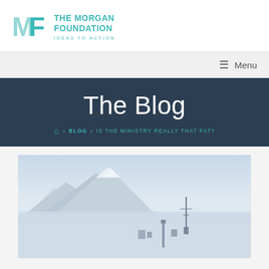[Figure (logo): The Morgan Foundation logo with MF icon and tagline 'IDEAS TO ACTION']
Menu
The Blog
HOME > BLOG > IS THE MINISTRY REALLY THAT FAT?
[Figure (photo): Snow-covered mountain landscape with a tower/antenna structure visible in the foreground, overcast sky]